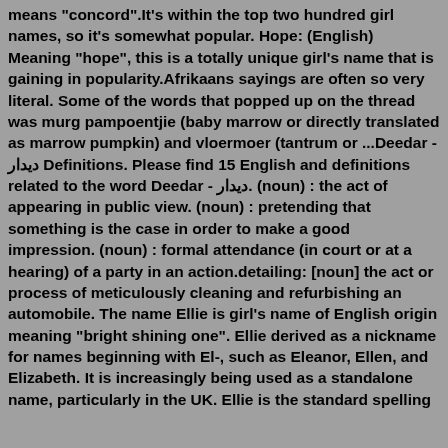means "concord".It's within the top two hundred girl names, so it's somewhat popular. Hope: (English) Meaning "hope", this is a totally unique girl's name that is gaining in popularity.Afrikaans sayings are often so very literal. Some of the words that popped up on the thread was murg pampoentjie (baby marrow or directly translated as marrow pumpkin) and vloermoer (tantrum or ...Deedar - دیدار Definitions. Please find 15 English and definitions related to the word Deedar - دیدار. (noun) : the act of appearing in public view. (noun) : pretending that something is the case in order to make a good impression. (noun) : formal attendance (in court or at a hearing) of a party in an action.detailing: [noun] the act or process of meticulously cleaning and refurbishing an automobile. The name Ellie is girl's name of English origin meaning "bright shining one". Ellie derived as a nickname for names beginning with El-, such as Eleanor, Ellen, and Elizabeth. It is increasingly being used as a standalone name, particularly in the UK. Ellie is the standard spelling